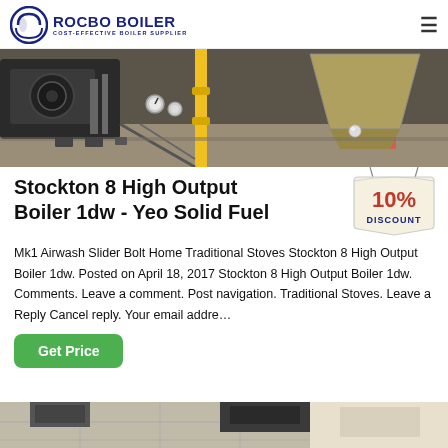ROCBO BOILER — COST-EFFECTIVE BOILER SUPPLIER
[Figure (photo): Industrial boiler machinery with pipes and equipment on a factory floor]
Stockton 8 High Output Boiler 1dw - Yeo Solid Fuel
[Figure (infographic): 10% DISCOUNT badge/tag graphic]
Mk1 Airwash Slider Bolt Home Traditional Stoves Stockton 8 High Output Boiler 1dw. Posted on April 18, 2017 Stockton 8 High Output Boiler 1dw. Comments. Leave a comment. Post navigation. Traditional Stoves. Leave a Reply Cancel reply. Your email addre…
[Figure (screenshot): Bottom partial image of another boiler/industrial equipment item]